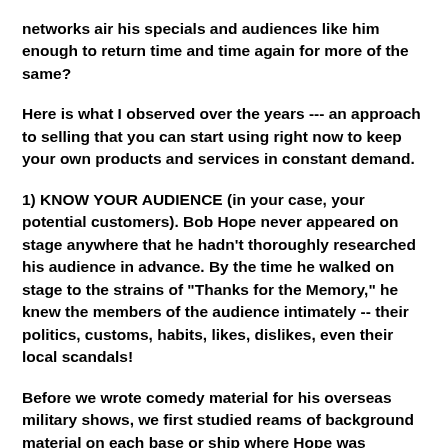networks air his specials and audiences like him enough to return time and time again for more of the same?
Here is what I observed over the years --- an approach to selling that you can start using right now to keep your own products and services in constant demand.
1) KNOW YOUR AUDIENCE (in your case, your potential customers). Bob Hope never appeared on stage anywhere that he hadn't thoroughly researched his audience in advance. By the time he walked on stage to the strains of "Thanks for the Memory," he knew the members of the audience intimately -- their politics, customs, habits, likes, dislikes, even their local scandals!
Before we wrote comedy material for his overseas military shows, we first studied reams of background material on each base or ship where Hope was scheduled to appear. When Bob told his first joke, the audience immediately identified with him as one of their own. How else would he know all those